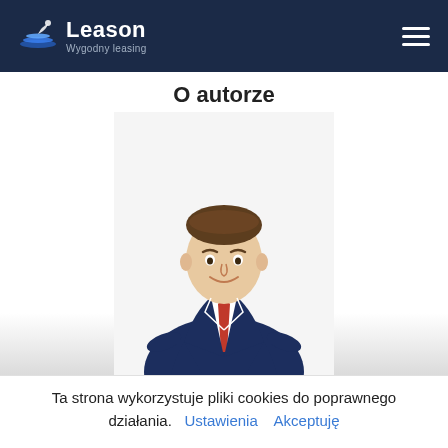Leason — Wygodny leasing (navigation bar)
O autorze
[Figure (photo): Professional headshot of a young man in a navy blue suit with a red tie, smiling, on a white background.]
Ta strona wykorzystuje pliki cookies do poprawnego działania.
Ustawienia   Akceptuję